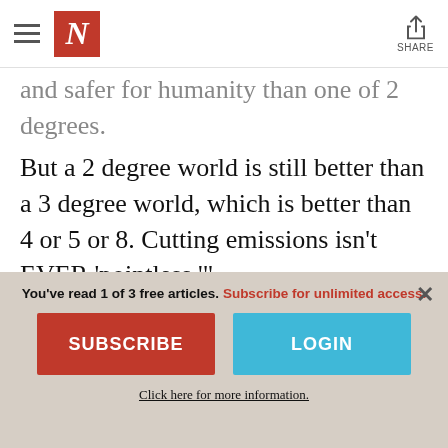The Nation — navigation bar with hamburger menu, N logo, and Share button
and safer for humanity than one of 2 degrees. But a 2 degree world is still better than a 3 degree world, which is better than 4 or 5 or 8. Cutting emissions isn't EVER 'pointless.'"
Franzen would reject criticism that he's making a conservative argument. After all, even as he lambasts the Green New Deal, he does offer support for a wide array of policies
You've read 1 of 3 free articles. Subscribe for unlimited access.
SUBSCRIBE
LOGIN
Click here for more information.